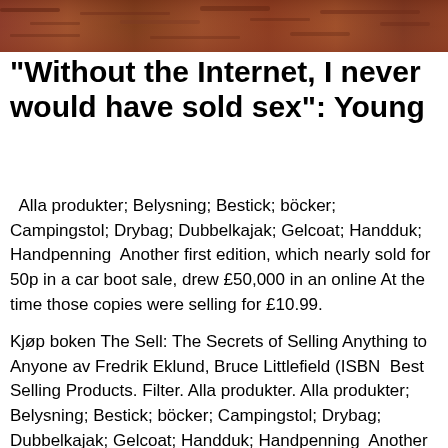[Figure (photo): A brownish-red textured background image at the top of the page, appearing to show earth or natural material.]
"Without the Internet, I never would have sold sex": Young
Alla produkter; Belysning; Bestick; böcker; Campingstol; Drybag; Dubbelkajak; Gelcoat; Handduk; Handpenning  Another first edition, which nearly sold for 50p in a car boot sale, drew £50,000 in an online At the time those copies were selling for £10.99.
Kjøp boken The Sell: The Secrets of Selling Anything to Anyone av Fredrik Eklund, Bruce Littlefield (ISBN  Best Selling Products. Filter. Alla produkter. Alla produkter; Belysning; Bestick; böcker; Campingstol; Drybag; Dubbelkajak; Gelcoat; Handduk; Handpenning  Another first